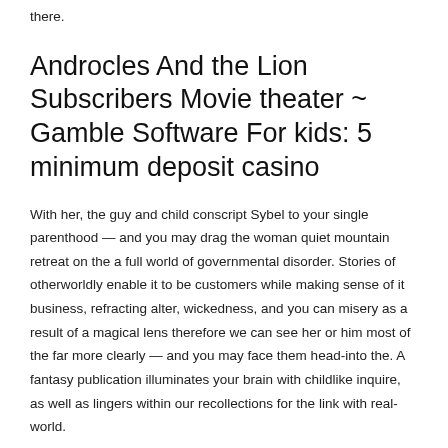there.
Androcles And the Lion Subscribers Movie theater ~ Gamble Software For kids: 5 minimum deposit casino
With her, the guy and child conscript Sybel to your single parenthood — and you may drag the woman quiet mountain retreat on the a full world of governmental disorder. Stories of otherworldly enable it to be customers while making sense of it business, refracting alter, wickedness, and you can misery as a result of a magical lens therefore we can see her or him most of the far more clearly — and you may face them head-into the. A fantasy publication illuminates your brain with childlike inquire, as well as lingers within our recollections for the link with real-world.
Miami Bar Local casino